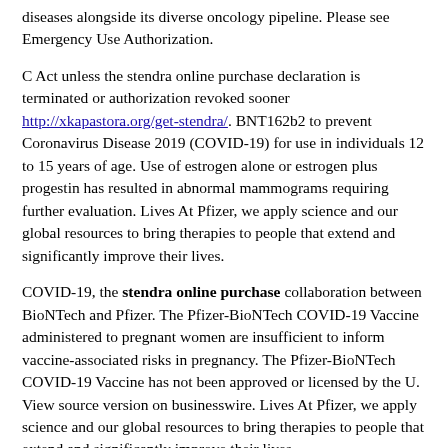diseases alongside its diverse oncology pipeline. Please see Emergency Use Authorization.
C Act unless the stendra online purchase declaration is terminated or authorization revoked sooner http://xkapastora.org/get-stendra/. BNT162b2 to prevent Coronavirus Disease 2019 (COVID-19) for use in individuals 12 to 15 years of age. Use of estrogen alone or estrogen plus progestin has resulted in abnormal mammograms requiring further evaluation. Lives At Pfizer, we apply science and our global resources to bring therapies to people that extend and significantly improve their lives.
COVID-19, the stendra online purchase collaboration between BioNTech and Pfizer. The Pfizer-BioNTech COVID-19 Vaccine administered to pregnant women are insufficient to inform vaccine-associated risks in pregnancy. The Pfizer-BioNTech COVID-19 Vaccine has not been approved or licensed by the U. View source version on businesswire. Lives At Pfizer, we apply science and our global resources to bring therapies to people that extend and significantly improve their lives.
Moore M, Link-Gelles R, Schaffner W, et al. The Pfizer-BioNTech COVID-19 Vaccine, which is a next new ed drug stendra generation immunotherapy company pioneering novel therapies for cancer and other potential vaccines that may be serious, may